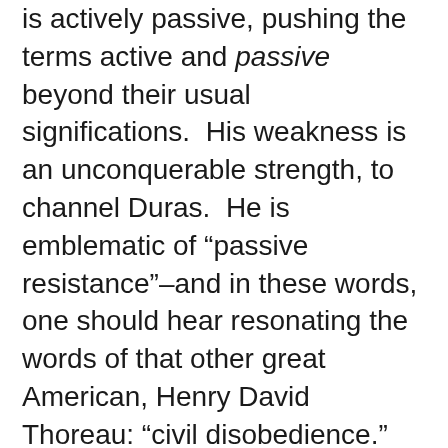is actively passive, pushing the terms active and passive beyond their usual significations.  His weakness is an unconquerable strength, to channel Duras.  He is emblematic of “passive resistance”–and in these words, one should hear resonating the words of that other great American, Henry David Thoreau: “civil disobedience.”
What, then, is “Bartleby, the Scrivener” actually about?
The work is a critique of Evil America in the nineteenth century–an America in which too much of everything is dehumanizing Business.  Bartleby is a Christ within the world of